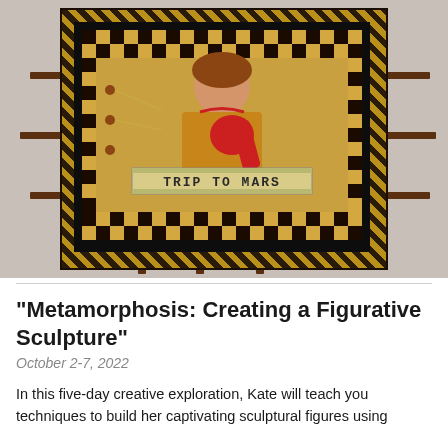[Figure (photo): Mixed media figurative sculpture artwork mounted on wall. A box frame with checkered black and gold pattern border contains a central image of a woman figure with red elements and a banner reading 'TRIP TO MARS'. Metal nails or bolts protrude from the sides and bottom of the frame.]
"Metamorphosis: Creating a Figurative Sculpture"
October 2-7, 2022
In this five-day creative exploration, Kate will teach you techniques to build her captivating sculptural figures using